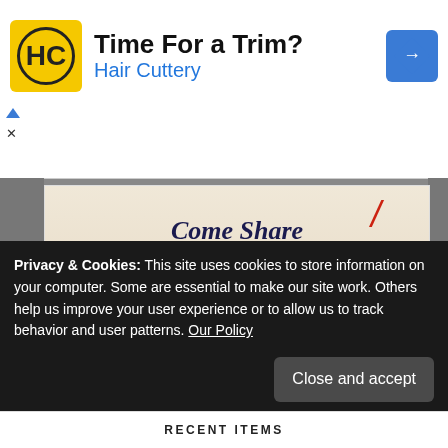[Figure (advertisement): Hair Cuttery ad banner with logo, 'Time For a Trim?' headline, and navigation icon]
[Figure (advertisement): Retirement living DMV ad: 'Come Share Our Enthusiasm.' with VISIT NOW button and Open link]
Privacy & Cookies: This site uses cookies to store information on your computer. Some are essential to make our site work. Others help us improve your user experience or to allow us to track behavior and user patterns. Our Policy
RECENT ITEMS